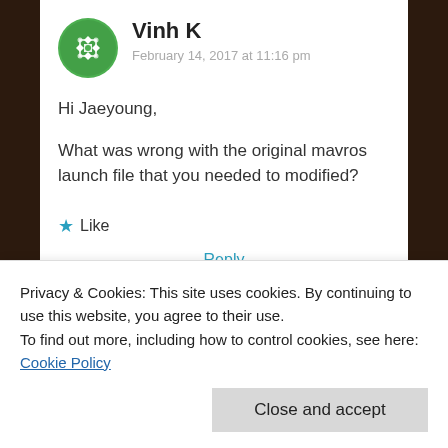[Figure (logo): Green circular avatar with geometric diamond/floral pattern for user Vinh K]
Vinh K
February 14, 2017 at 11:16 pm
Hi Jaeyoung,
What was wrong with the original mavros launch file that you needed to modified?
★ Like
Reply
Privacy & Cookies: This site uses cookies. By continuing to use this website, you agree to their use.
To find out more, including how to control cookies, see here: Cookie Policy